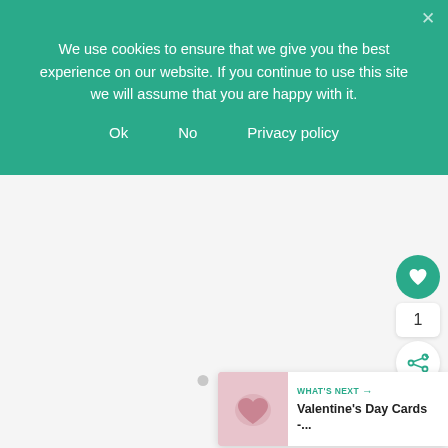We use cookies to ensure that we give you the best experience on our website. If you continue to use this site we will assume that you are happy with it.
Ok
No
Privacy policy
[Figure (infographic): Loading dots indicator — three small grey circles horizontally centered]
[Figure (infographic): Teal circular heart/like button, count badge showing '1', and white circular share button on the right side of the page]
[Figure (infographic): What's Next card with a pink Valentine's Day image thumbnail and text 'WHAT'S NEXT → Valentine's Day Cards -...']